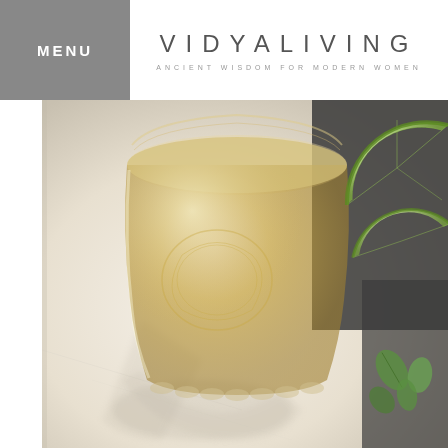MENU | VIDYA LIVING — ANCIENT WISDOM FOR MODERN WOMEN
[Figure (photo): A decorative glass filled with golden amber liquid (tea or cocktail), shot from above on a white marble surface, with lime wedges and fresh mint leaves visible in the upper right corner. Soft natural light creates a warm, airy aesthetic.]